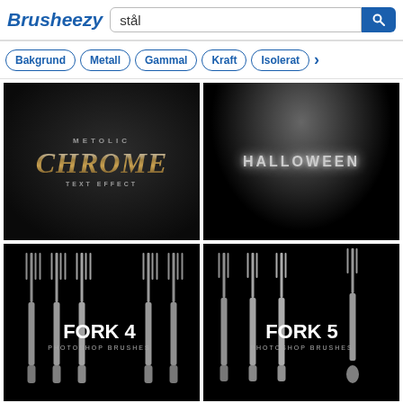Brusheezy — stål search page
Bakgrund
Metall
Gammal
Kraft
Isolerat
[Figure (screenshot): Metalic Chrome Text Effect — chrome golden 3D text on dark background]
[Figure (screenshot): Halloween steel text effect on dark background with spotlight glow]
[Figure (screenshot): Fork 4 Photoshop Brushes — multiple silver fork shapes on black background]
[Figure (screenshot): Fork 5 Photoshop Brushes — multiple silver fork shapes on black background]
[Figure (screenshot): Partial view of another fork brushes set, bottom of page]
[Figure (screenshot): Partial view of another fork/cutlery brushes set, bottom of page]